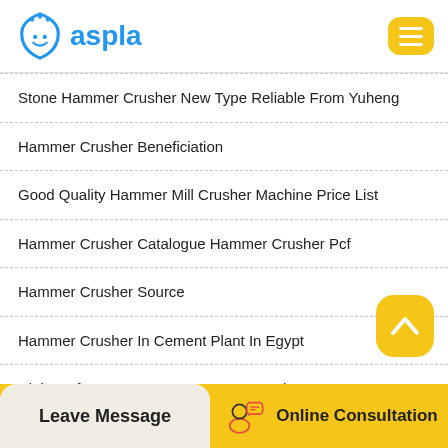[Figure (logo): Aspla website logo with blue shield/face icon and blue text 'aspla', with yellow hamburger menu button on right]
Stone Hammer Crusher New Type Reliable From Yuheng
Hammer Crusher Beneficiation
Good Quality Hammer Mill Crusher Machine Price List
Hammer Crusher Catalogue Hammer Crusher Pcf
Hammer Crusher Source
Hammer Crusher In Cement Plant In Egypt
High Performance Heavy Hammer Crusher
Leave Message   Online Consultation